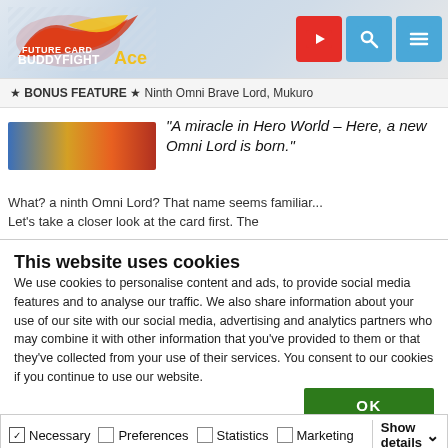[Figure (logo): Future Card Buddyfight Ace logo in header with navigation icons (YouTube red, search blue, menu blue)]
★ BONUS FEATURE ★ Ninth Omni Brave Lord, Mukuro
[Figure (photo): Colorful card art thumbnail image]
“A miracle in Hero World – Here, a new Omni Lord is born.”
What? a ninth Omni Lord? That name seems familiar...
Let’s take a closer look at the card first. The
This website uses cookies
We use cookies to personalise content and ads, to provide social media features and to analyse our traffic. We also share information about your use of our site with our social media, advertising and analytics partners who may combine it with other information that you’ve provided to them or that they’ve collected from your use of their services. You consent to our cookies if you continue to use our website.
OK
Necessary  Preferences  Statistics  Marketing  Show details